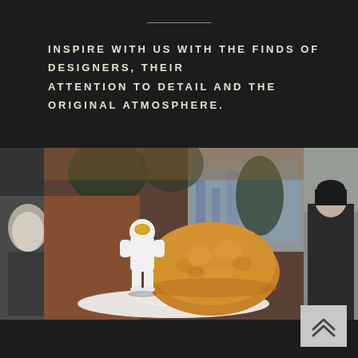INSPIRE WITH US WITH THE FINDS OF DESIGNERS, THEIR ATTENTION TO DETAIL AND THE ORIGINAL ATMOSPHERE.
[Figure (photo): Left partial photo showing a white object on dark background, cropped at edge]
[Figure (photo): Center photo of a white astronaut figurine with gold visor next to a large golden fried pastry dome on a white plate, on a marble table in a restaurant setting with warm lighting]
[Figure (photo): Right partial photo showing a person wearing a dark jacket, cropped at edge]
[Figure (other): Back to top button with double chevron arrow icon in grey box]